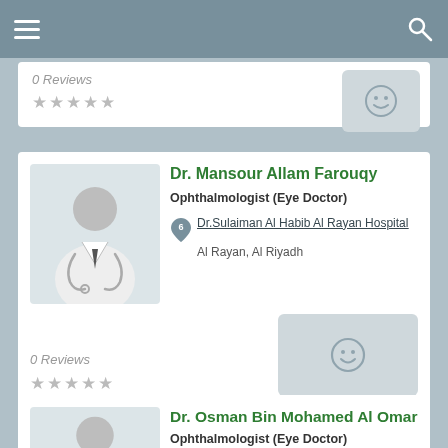Navigation bar with menu and search icons
0 Reviews
★★★★★
Dr. Mansour Allam Farouqy
Ophthalmologist (Eye Doctor)
Dr.Sulaiman Al Habib Al Rayan Hospital
Al Rayan, Al Riyadh
0 Reviews
★★★★★
Dr. Osman Bin Mohamed Al Omar
Ophthalmologist (Eye Doctor)